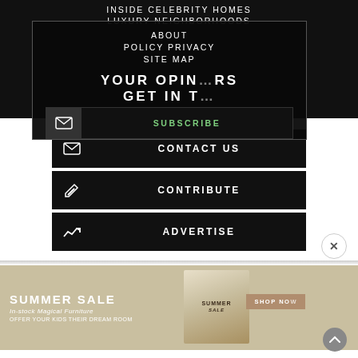INSIDE CELEBRITY HOMES
LUXURY NEIGHBORHOODS
ABOUT
POLICY PRIVACY
SITE MAP
YOUR OPINION MATTERS GET IN TOUCH
SUBSCRIBE
CONTACT US
CONTRIBUTE
ADVERTISE
[Figure (screenshot): Advertisement banner for Summer Sale - In-stock Magical Furniture, offer your kids their dream room]
SUMMER SALE In-stock Magical Furniture OFFER YOUR KIDS THEIR DREAM ROOM
SHOP NOW